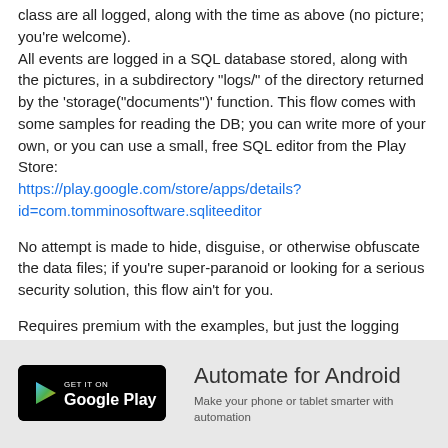class are all logged, along with the time as above (no picture; you're welcome).
All events are logged in a SQL database stored, along with the pictures, in a subdirectory "logs/" of the directory returned by the 'storage("documents")' function. This flow comes with some samples for reading the DB; you can write more of your own, or you can use a small, free SQL editor from the Play Store:
https://play.google.com/store/apps/details?id=com.tomminosoftware.sqliteeditor
No attempt is made to hide, disguise, or otherwise obfuscate the data files; if you're super-paranoid or looking for a serious security solution, this flow ain't for you.
Requires premium with the examples, but just the logging portion would be non-premium.
[Figure (logo): Google Play store badge — black rounded rectangle with Play triangle icon and 'GET IT ON Google Play' text]
Automate for Android
Make your phone or tablet smarter with automation